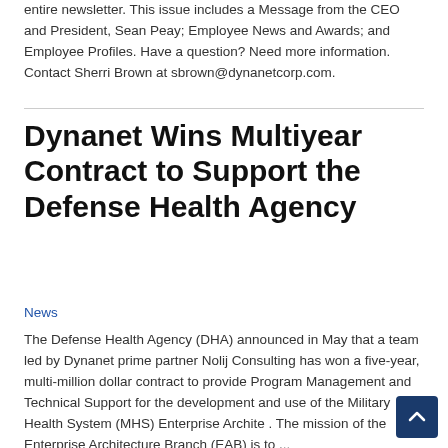entire newsletter. This issue includes a Message from the CEO and President, Sean Peay; Employee News and Awards; and Employee Profiles. Have a question? Need more information. Contact Sherri Brown at sbrown@dynanetcorp.com.
Dynanet Wins Multiyear Contract to Support the Defense Health Agency
News
The Defense Health Agency (DHA) announced in May that a team led by Dynanet prime partner Nolij Consulting has won a five-year, multi-million dollar contract to provide Program Management and Technical Support for the development and use of the Military Health System (MHS) Enterprise Architecture. The mission of the Enterprise Architecture Branch (EAB) is to ...